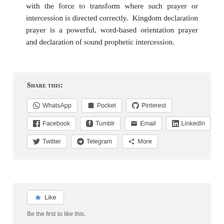with the force to transform where such prayer or intercession is directed correctly. Kingdom declaration prayer is a powerful, word-based orientation prayer and declaration of sound prophetic intercession.
Share this:
[Figure (other): Social sharing buttons: WhatsApp, Pocket, Pinterest, Facebook, Tumblr, Email, LinkedIn, Twitter, Telegram, More]
[Figure (other): Like button widget with star icon and text 'Be the first to like this.']